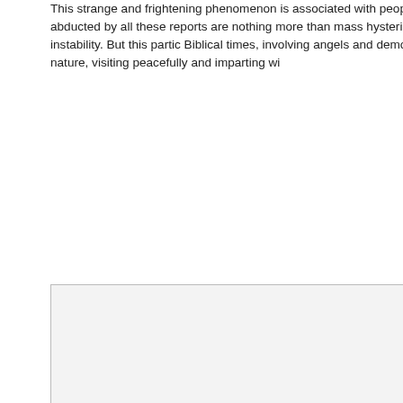This strange and frightening phenomenon is associated with people encountering and culture around the globe have reported similar cases of people abducted by all these reports are nothing more than mass hysteria. That the people reporting hallucinating and suffering from some unknown, mental instability. But this partic Biblical times, involving angels and demon-like creatures capturing unsuspecting the are shown to be more God-like in nature, visiting peacefully and imparting wi 10,000 years ago. What was the earl our time? One of t Boas, a Brazilian f 1957. He claimed took him, performe him have sex with of abduction would involving women m forced to have sex tests were done by breeding purposes Before alien abdu present society as a sort of running joke associated with UFOs and aliens, the m accepted the fact that numerous eyewitnesses are simply mistaken about what t compelling abduction case soon came to light a few years after the Boas case.
[Figure (photo): A large mostly blank/white image placeholder with a light gray background and thin gray border, representing an image in the original document.]